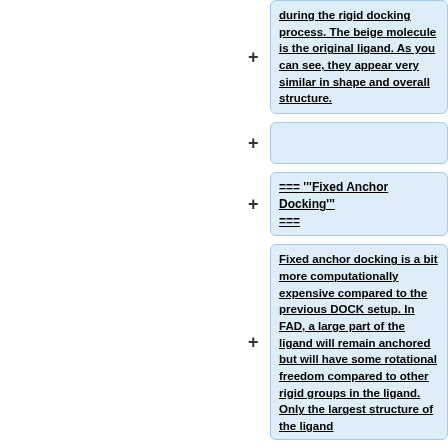during the rigid docking process. The beige molecule is the original ligand. As you can see, they appear very similar in shape and overall structure.
=== '''Fixed Anchor Docking''' ===
Fixed anchor docking is a bit more computationally expensive compared to the previous DOCK setup. In FAD, a large part of the ligand will remain anchored but will have some rotational freedom compared to other rigid groups in the ligand. Only the largest structure of the ligand